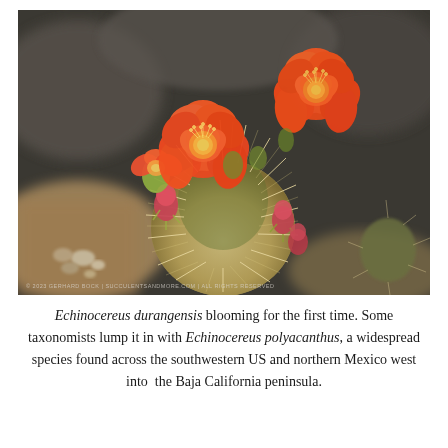[Figure (photo): Close-up photograph of a cactus (Echinocereus durangensis) with vivid orange-red blooming flowers and spiny green body, with buds visible, set against blurred rocky background. Watermark reads: © 2023 GERHARD BOCK | SUCCULENTSANDMORE.COM | ALL RIGHTS RESERVED]
Echinocereus durangensis blooming for the first time. Some taxonomists lump it in with Echinocereus polyacanthus, a widespread species found across the southwestern US and northern Mexico west into the Baja California peninsula.